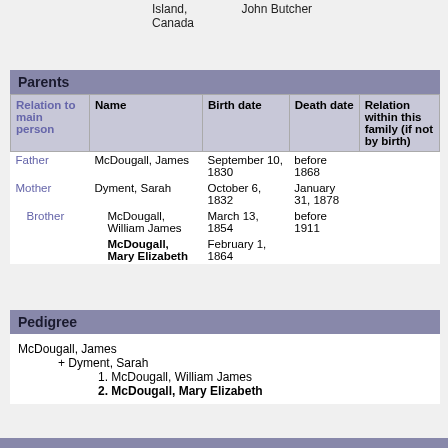Island, Canada    John Butcher
| Relation to main person | Name | Birth date | Death date | Relation within this family (if not by birth) |
| --- | --- | --- | --- | --- |
| Father | McDougall, James | September 10, 1830 | before 1868 |  |
| Mother | Dyment, Sarah | October 6, 1832 | January 31, 1878 |  |
| Brother | McDougall, William James | March 13, 1854 | before 1911 |  |
|  | McDougall, Mary Elizabeth | February 1, 1864 |  |  |
Pedigree
McDougall, James
+ Dyment, Sarah
1. McDougall, William James
2. McDougall, Mary Elizabeth